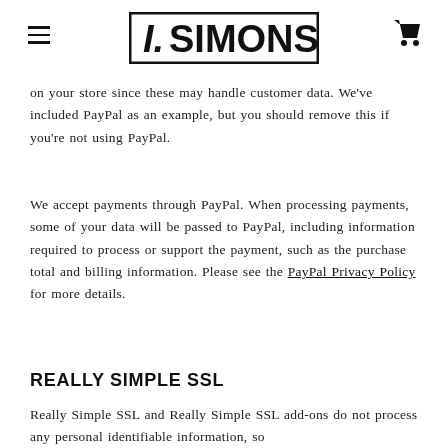I.SIMONS
on your store since these may handle customer data. We've included PayPal as an example, but you should remove this if you're not using PayPal.
We accept payments through PayPal. When processing payments, some of your data will be passed to PayPal, including information required to process or support the payment, such as the purchase total and billing information. Please see the PayPal Privacy Policy for more details.
REALLY SIMPLE SSL
Really Simple SSL and Really Simple SSL add-ons do not process any personal identifiable information, so